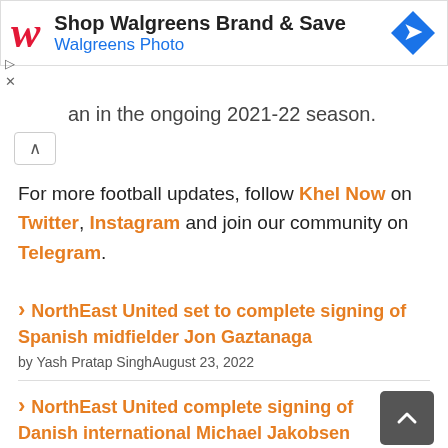[Figure (screenshot): Walgreens advertisement banner with logo, 'Shop Walgreens Brand & Save' headline, 'Walgreens Photo' subtext, and a blue navigation icon on the right.]
an in the ongoing 2021-22 season.
For more football updates, follow Khel Now on Twitter, Instagram and join our community on Telegram.
NorthEast United set to complete signing of Spanish midfielder Jon Gaztanaga by Yash Pratap Singh August 23, 2022
NorthEast United complete signing of Danish international Michael Jakobsen by Yash Pratap Singh August 23, 2022